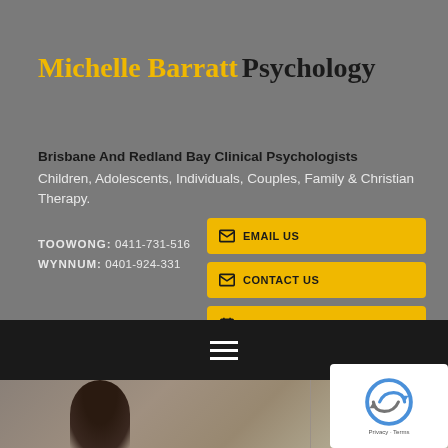Michelle Barratt Psychology
Brisbane And Redland Bay Clinical Psychologists
Children, Adolescents, Individuals, Couples, Family & Christian Therapy.
TOOWONG: 0411-731-516
WYNNUM: 0401-924-331
EMAIL US
CONTACT US
BOOK ONLINE
[Figure (photo): Photo of two people in an office/therapy setting]